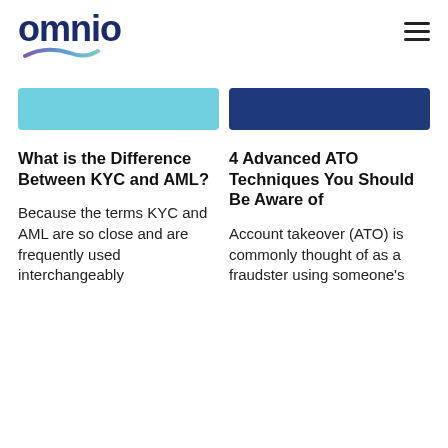omnio
[Figure (illustration): Two colored banner/image bars: left one is teal/cyan, right one is dark navy blue]
What is the Difference Between KYC and AML?
4 Advanced ATO Techniques You Should Be Aware of
Because the terms KYC and AML are so close and are frequently used interchangeably
Account takeover (ATO) is commonly thought of as a fraudster using someone's